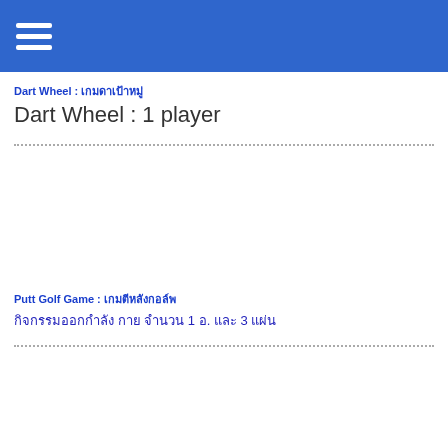Dart Wheel : เกมดาเป้าหมู่
Dart Wheel : 1 player
[Figure (photo): Image area for Dart Wheel game (blank/white)]
Putt Golf Game : เกมตีหลังกอล์พ
กิจกรรมออกกำลัง กาย จำนวน 1 อ. และ 3 แผ่น
[Figure (photo): Image area for Putt Golf Game (blank/white)]
Anti Granvity Carnival Game : เกมตีแดลอบปักษ์รถ
Challenge yourself by sliding the rails apart & together causing the ball to roll down the rails & drop into the holes with the most point